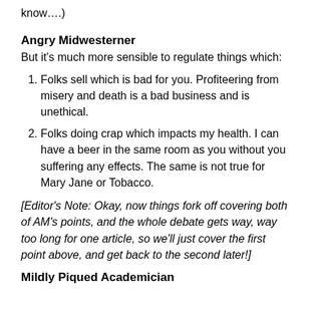know….)
Angry Midwesterner
But it's much more sensible to regulate things which:
Folks sell which is bad for you. Profiteering from misery and death is a bad business and is unethical.
Folks doing crap which impacts my health. I can have a beer in the same room as you without you suffering any effects. The same is not true for Mary Jane or Tobacco.
[Editor's Note: Okay, now things fork off covering both of AM's points, and the whole debate gets way, way too long for one article, so we'll just cover the first point above, and get back to the second later!]
Mildly Piqued Academician